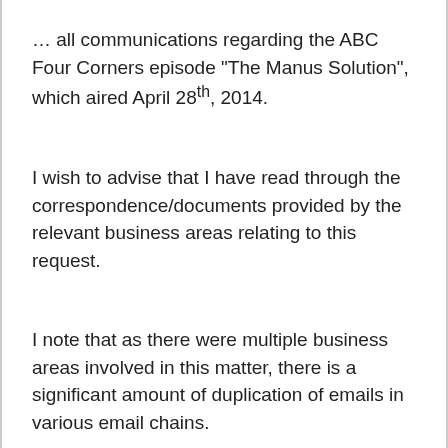… all communications regarding the ABC Four Corners episode "The Manus Solution", which aired April 28th, 2014.
I wish to advise that I have read through the correspondence/documents provided by the relevant business areas relating to this request.
I note that as there were multiple business areas involved in this matter, there is a significant amount of duplication of emails in various email chains.